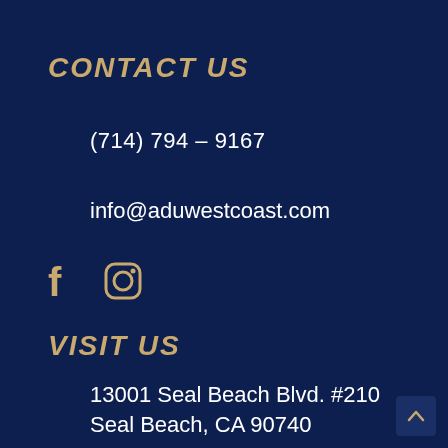CONTACT US
(714) 794 – 9167
info@aduwestcoast.com
[Figure (illustration): Facebook and Instagram social media icons in gold color]
VISIT US
13001 Seal Beach Blvd. #210
Seal Beach, CA 90740